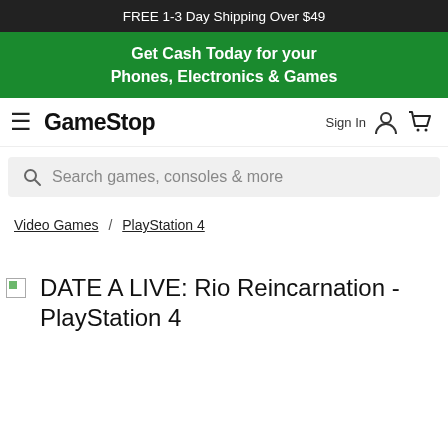FREE 1-3 Day Shipping Over $49
Get Cash Today for your Phones, Electronics & Games
GameStop
Sign In
Search games, consoles & more
Video Games / PlayStation 4
DATE A LIVE: Rio Reincarnation - PlayStation 4